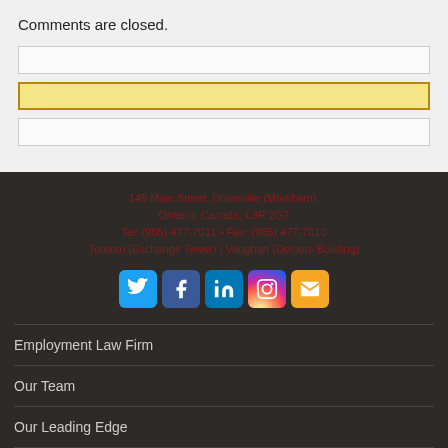Comments are closed.
145 Main Street, Unionville (Markham), Ontario, Canada, L3R 2G7
Tel: (905) 477-7011 • Fax: (905) 477-7010
Toronto (Exchange Tower) | Vaughan (Deloors Building)
[Figure (infographic): Row of 5 social media icon buttons: Twitter (blue), Facebook (dark blue), LinkedIn (blue), Instagram (gradient), Email (orange)]
Employment Law Firm
Our Team
Our Leading Edge